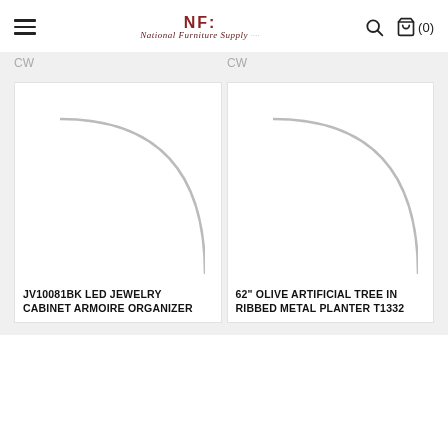National Furniture Supply
CW
CW
[Figure (photo): Product image placeholder for JV10081BK LED Jewelry Cabinet Armoire Organizer — white background with a partial circular arc graphic]
[Figure (photo): Product image placeholder for 62 inch Olive Artificial Tree in Ribbed Metal Planter T1332 — white background with a partial circular arc graphic]
JV10081BK LED JEWELRY CABINET ARMOIRE ORGANIZER
62" OLIVE ARTIFICIAL TREE IN RIBBED METAL PLANTER T1332